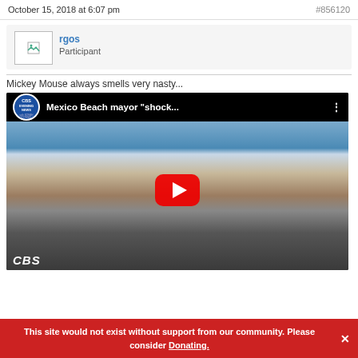October 15, 2018 at 6:07 pm   #856120
rgos
Participant
Mickey Mouse always smells very nasty...
[Figure (screenshot): YouTube video thumbnail for CBS Evening News video titled 'Mexico Beach mayor "shock...' showing storm debris and heavy equipment, with red play button in center.]
This site would not exist without support from our community. Please consider Donating.